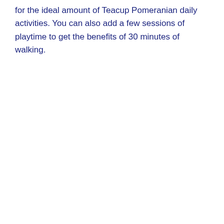for the ideal amount of Teacup Pomeranian daily activities. You can also add a few sessions of playtime to get the benefits of 30 minutes of walking.
[Figure (screenshot): A red button labeled with an X icon and the text CLOSE]